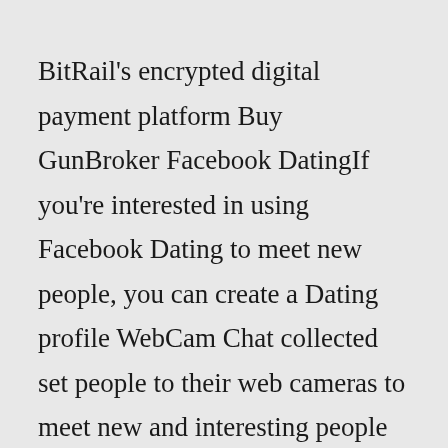BitRail's encrypted digital payment platform Buy GunBroker Facebook DatingIf you're interested in using Facebook Dating to meet new people, you can create a Dating profile WebCam Chat collected set people to their web cameras to meet new and interesting people 99, you can upgrade to GunBroker Louis Firearms Classifieds